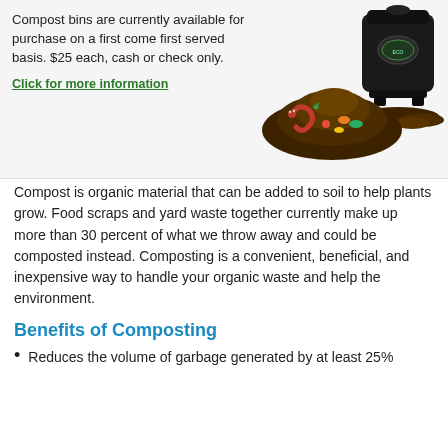Compost bins are currently available for purchase on a first come first served basis. $25 each, cash or check only.
Click for more information
[Figure (photo): Photo of a pile of compost with a worm, vegetables, and a black compost bin on the right side.]
Compost is organic material that can be added to soil to help plants grow. Food scraps and yard waste together currently make up more than 30 percent of what we throw away and could be composted instead. Composting is a convenient, beneficial, and inexpensive way to handle your organic waste and help the environment.
Benefits of Composting
Reduces the volume of garbage generated by at least 25%